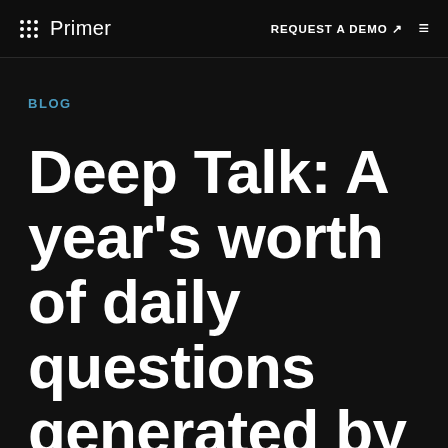Primer — REQUEST A DEMO ↗ ≡
BLOG
Deep Talk: A year's worth of daily questions generated by